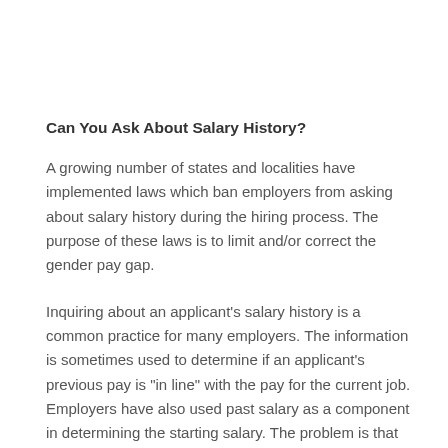Can You Ask About Salary History?
A growing number of states and localities have implemented laws which ban employers from asking about salary history during the hiring process. The purpose of these laws is to limit and/or correct the gender pay gap.
Inquiring about an applicant’s salary history is a common practice for many employers. The information is sometimes used to determine if an applicant’s previous pay is “in line” with the pay for the current job. Employers have also used past salary as a component in determining the starting salary. The problem is that this can perpetuate the pay disparity